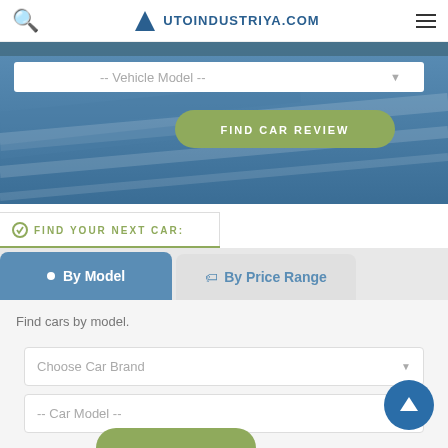AutoIndustriya.com
[Figure (screenshot): Hero banner with blue decorative lines, vehicle model dropdown, and Find Car Review green button]
FIND YOUR NEXT CAR:
By Model
By Price Range
Find cars by model.
Choose Car Brand
-- Car Model --